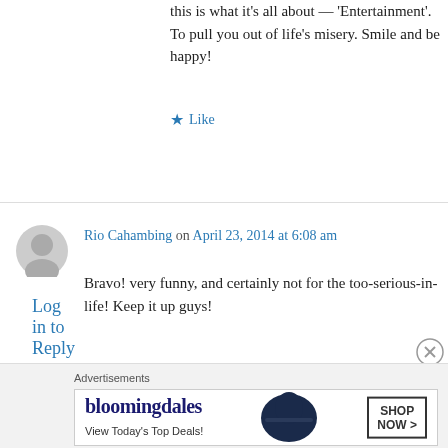this is what it's all about — 'Entertainment'. To pull you out of life's misery. Smile and be happy!
★ Like
Log in to Reply
Rio Cahambing on April 23, 2014 at 6:08 am
Bravo! very funny, and certainly not for the too-serious-in-life! Keep it up guys!
★ Like
Log in to Reply
Advertisements
[Figure (other): Bloomingdales advertisement banner: 'bloomingdales — View Today's Top Deals!' with a woman in a wide-brim hat, and a 'SHOP NOW >' button]